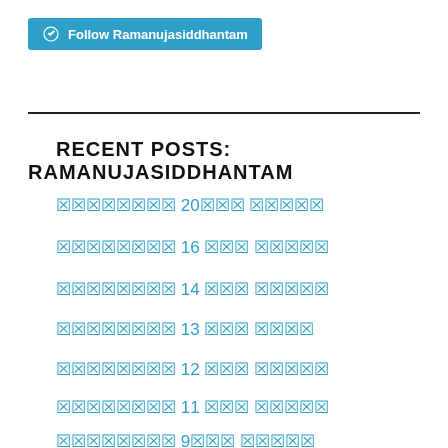[Figure (other): WordPress Follow button with 'Follow Ramanujasiddhantam' text in teal/blue rounded rectangle]
RECENT POSTS: RAMANUJASIDDHANTAM
🔲🔲🔲🔲🔲🔲🔲🔲 20🔲🔲🔲 🔲🔲🔲🔲🔲
🔲🔲🔲🔲🔲🔲🔲🔲 16 🔲🔲🔲 🔲🔲🔲🔲🔲
🔲🔲🔲🔲🔲🔲🔲🔲 14 🔲🔲🔲 🔲🔲🔲🔲🔲
🔲🔲🔲🔲🔲🔲🔲🔲 13 🔲🔲🔲 🔲🔲🔲🔲
🔲🔲🔲🔲🔲🔲🔲🔲 12 🔲🔲🔲 🔲🔲🔲🔲🔲
🔲🔲🔲🔲🔲🔲🔲🔲 11 🔲🔲🔲 🔲🔲🔲🔲🔲
🔲🔲🔲🔲🔲🔲🔲🔲 9🔲🔲🔲 🔲🔲🔲🔲🔲